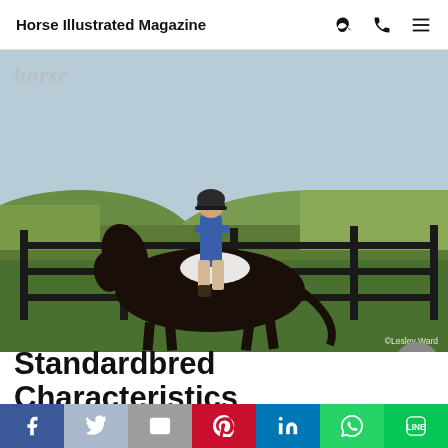Horse Illustrated Magazine
[Figure (photo): A rider in a blue shirt, tan jodhpurs, and black helmet sitting on a dark bay/black horse trotting along a black fence in a green pasture. Watermark 'horse' in top left. Photo credit '©Lesley Ward' in bottom right.]
Standardbred Characteristics
[Figure (infographic): Social share bar at the bottom with Facebook, Twitter, Email, Pinterest, LinkedIn, WhatsApp, and LINE buttons.]